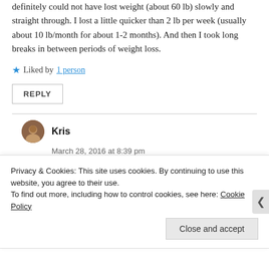definitely could not have lost weight (about 60 lb) slowly and straight through. I lost a little quicker than 2 lb per week (usually about 10 lb/month for about 1-2 months). And then I took long breaks in between periods of weight loss.
★ Liked by 1 person
REPLY
Kris
March 28, 2016 at 8:39 pm
Privacy & Cookies: This site uses cookies. By continuing to use this website, you agree to their use.
To find out more, including how to control cookies, see here: Cookie Policy
Close and accept